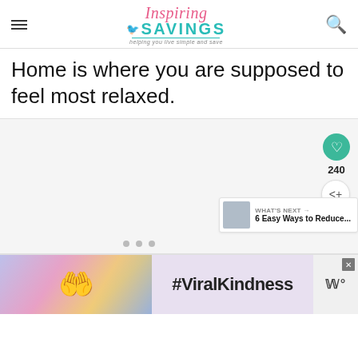Inspiring SAVINGS - helping you live simple and save
Home is where you are supposed to feel most relaxed.
[Figure (screenshot): Slideshow area with light gray background, save/share buttons, 'WHAT'S NEXT' card showing '6 Easy Ways to Reduce...', and three navigation dots]
[Figure (photo): Advertisement banner with #ViralKindness text, hands forming heart shape silhouette against colorful sky background, close button, and brand logo]